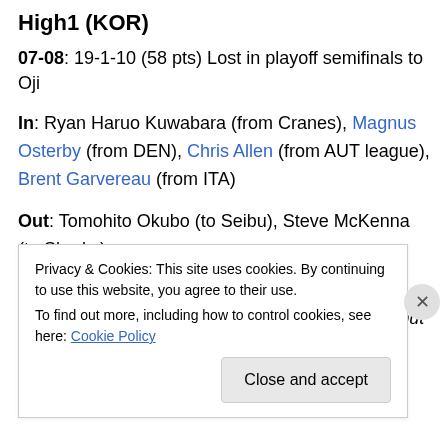High1 (KOR)
07-08: 19-1-10 (58 pts) Lost in playoff semifinals to Oji
In: Ryan Haruo Kuwabara (from Cranes), Magnus Osterby (from DEN), Chris Allen (from AUT league), Brent Garvereau (from ITA)
Out: Tomohito Okubo (to Seibu), Steve McKenna (to Sharks)
The team has been steadily getting better in its three seasons in the league (7th -> 4th -> 2nd), but with the
Privacy & Cookies: This site uses cookies. By continuing to use this website, you agree to their use.
To find out more, including how to control cookies, see here: Cookie Policy